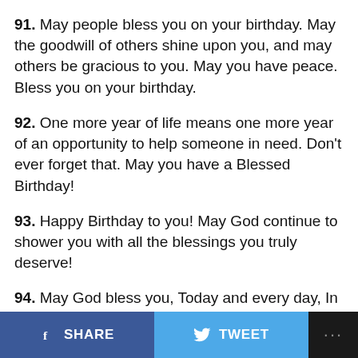91. May people bless you on your birthday. May the goodwill of others shine upon you, and may others be gracious to you. May you have peace. Bless you on your birthday.
92. One more year of life means one more year of an opportunity to help someone in need. Don’t ever forget that. May you have a Blessed Birthday!
93. Happy Birthday to you! May God continue to shower you with all the blessings you truly deserve!
94. May God bless you, Today and every day, In everything you do And in every little way May you also know His love is all around As you come and
SHARE   TWEET   ...